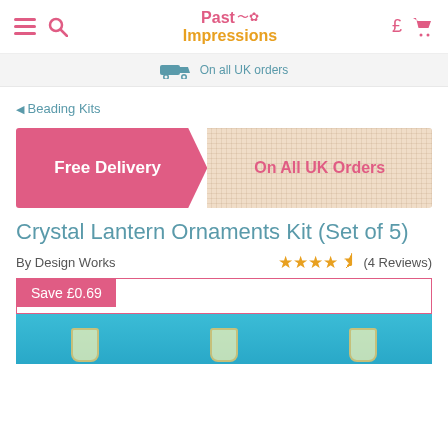Past Impressions
On all UK orders
◄ Beading Kits
[Figure (infographic): Promotional banner: pink left section with 'Free Delivery' text in white, right section with fabric/canvas texture background and 'On All UK Orders' in pink text.]
Crystal Lantern Ornaments Kit (Set of 5)
By Design Works
★★★★★ (4 Reviews)
Save £0.69
[Figure (photo): Product photo showing crystal lantern ornaments on a turquoise/blue background with green foliage.]